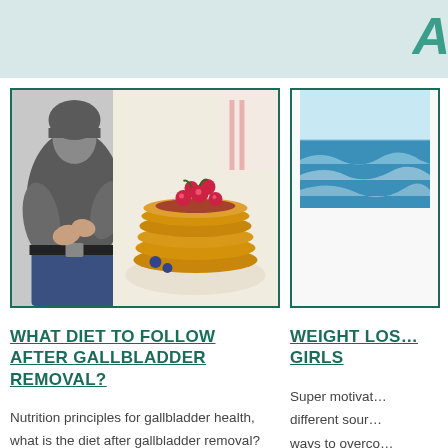A
[Figure (photo): Left: person holding abdomen (stomach pain); Right: stack of pancakes topped with red berries on a plate]
WHAT DIET TO FOLLOW AFTER GALLBLADDER REMOVAL?
Nutrition principles for gallbladder health, what is the diet after gallbladder removal? Allowed and forbidden foods, rules for cooking. How to make a menu for a week,
[Figure (photo): Ocean waves with blue sky, partial view]
WEIGHT LOS... GIRLS
Super motivat... different sour... ways to overco... losing weight.